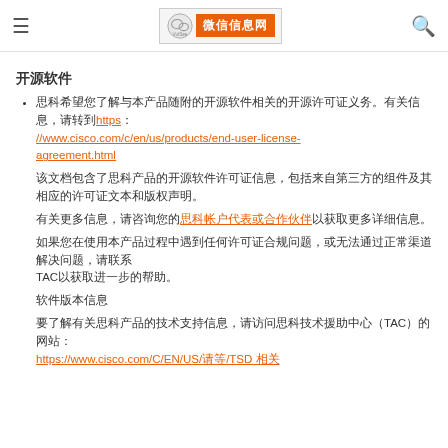微信信息网 header with menu and search icons
开源软件
思科希望您了解与本产品随附的开源软件相关的开源许可证义务。有关信息，请转到 https://www.cisco.com/c/en/us/products/end-user-license-agreement.html
本产品可能包含开源软件的某些组件，这些组件许可在GNU通用公共许可证（GPL）版本2下使用，此版本要求在分发源代码。
有关更多信息，请联系思科技术支持中心以获取相关支持。
如果您需要有关软件许可证合规性的更多信息，或者需要访问开源代码，请联系TAC以获取更多帮助。
软件版本信息
要获取产品技术信息，请访问思科支持网站，其中包括TAC相关资源链接：
https://www.cisco.com/C/EN/US/请等/TSD 相关